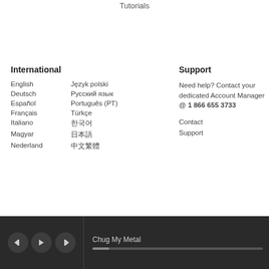Tutorials
International
English
Język polski
Deutsch
Русский язык
Español
Português (PT)
Français
Türkçe
Italiano
한국어
Magyar
日本語
Nederland
中文繁體
Support
Need help? Contact your dedicated Account Manager @ 1 866 655 3733
Contact
Support
Chug My Metal